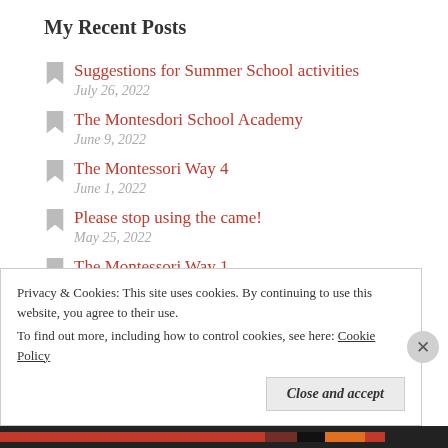My Recent Posts
Suggestions for Summer School activities
July 26, 2022
The Montesdori School Academy
June 9, 2022
The Montessori Way 4
June 1, 2022
Please stop using the came!
May 25, 2022
The Montessori Way 1
May 18, 2022
It's all about the stories
Privacy & Cookies: This site uses cookies. By continuing to use this website, you agree to their use.
To find out more, including how to control cookies, see here: Cookie Policy
Close and accept